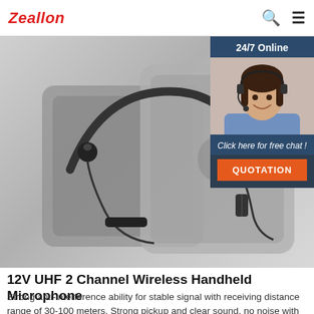Zeallon
[Figure (photo): Bluetooth wireless neckband earphones/headset displayed on top of smartphones (iPhone visible). Black neckband style earphones with cord and inline controls shown against grey background.]
[Figure (infographic): 24/7 Online chat widget with photo of female customer service representative wearing headset, smiling. Dark blue background. Text: 'Click here for free chat!' with orange QUOTATION button.]
12V UHF 2 Channel Wireless Handheld Microphone
Strong anti-interference ability for stable signal with receiving distance range of 30-100 meters. Strong pickup and clear sound, no noise with constant frequency. Thick metal mesh cover, anti-fall